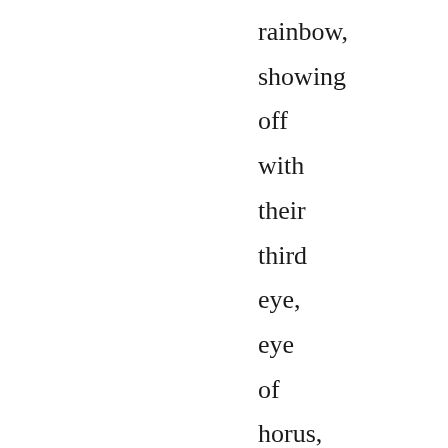rainbow, showing off with their third eye, eye of horus, having different watches, pink slime,